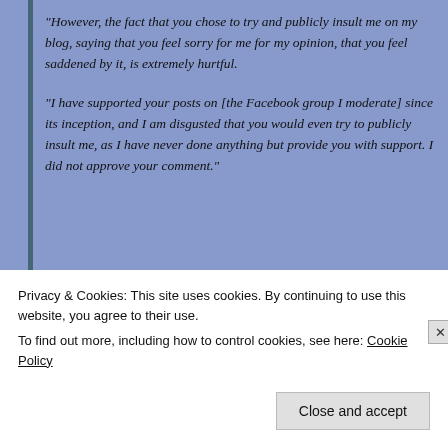“However, the fact that you chose to try and publicly insult me on my blog, saying that you feel sorry for me for my opinion, that you feel saddened by it, is extremely hurtful.
“I have supported your posts on [the Facebook group I moderate] since its inception, and I am disgusted that you would even try to publicly insult me, as I have never done anything but provide you with support. I did not approve your comment.”
[Figure (illustration): A red prohibition/no symbol (circle with diagonal line) on a white background, partially cropped]
Privacy & Cookies: This site uses cookies. By continuing to use this website, you agree to their use.
To find out more, including how to control cookies, see here: Cookie Policy